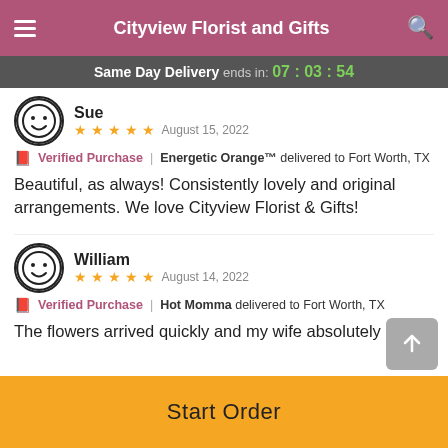Cityview Florist and Gifts
Same Day Delivery ends in: 07 : 03 : 54
Sue
★★★★★ August 15, 2022
🎀 Verified Purchase | Energetic Orange™ delivered to Fort Worth, TX
Beautiful, as always! Consistently lovely and original arrangements. We love Cityview Florist & Gifts!
William
★★★★★ August 14, 2022
🎀 Verified Purchase | Hot Momma delivered to Fort Worth, TX
The flowers arrived quickly and my wife absolutely loved
Start Order